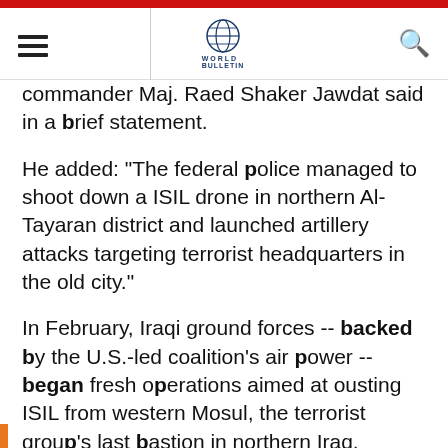World Bulletin
commander Maj. Raed Shaker Jawdat said in a brief statement.
He added: "The federal police managed to shoot down a ISIL drone in northern Al-Tayaran district and launched artillery attacks targeting terrorist headquarters in the old city."
In February, Iraqi ground forces -- backed by the U.S.-led coalition's air power -- began fresh operations aimed at ousting ISIL from western Mosul, the terrorist group's last bastion in northern Iraq.
The offensive is part of a wider campaign launched last October to retake the entire city, which ISIL overran in mid-2014.